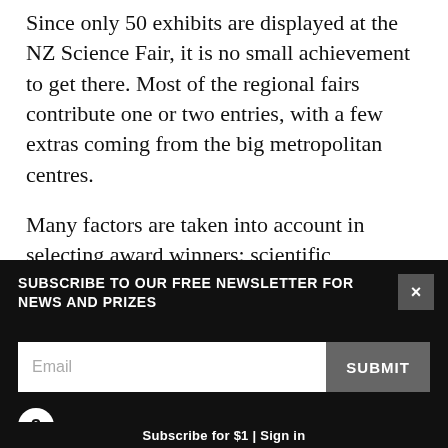Since only 50 exhibits are displayed at the NZ Science Fair, it is no small achievement to get there. Most of the regional fairs contribute one or two entries, with a few extras coming from the big metropolitan centres.
Many factors are taken into account in selecting award winners: scientific approach, resourcefulness, thoroughness, amount of work involved, originality, insightfulness of conclusions, quality of the display, familiarity of the exhibitor with the project area, as well as the competence of their verbal presentation,
SUBSCRIBE TO OUR FREE NEWSLETTER FOR NEWS AND PRIZES
3 FREE ARTICLES LEFT
Subscribe for $1 | Sign in